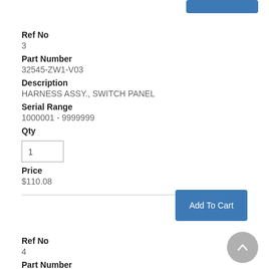Ref No
3
Part Number
32545-ZW1-V03
Description
HARNESS ASSY., SWITCH PANEL
Serial Range
1000001 - 9999999
Qty
1
Price
$110.08
Add To Cart
Ref No
4
Part Number
32580-ZW2-D01
Description